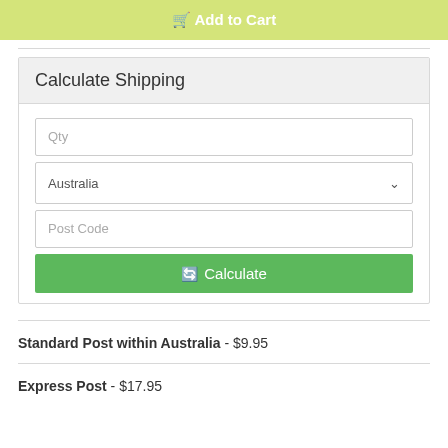🛒 Add to Cart
Calculate Shipping
Qty
Australia
Post Code
🔄 Calculate
Standard Post within Australia - $9.95
Express Post - $17.95